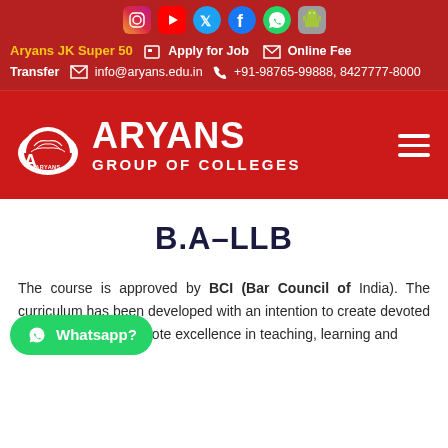Social icons: Instagram, YouTube, Twitter, Facebook, WhatsApp, Android
Aryans JK Super 50  Apply for Job  Online Fee Transfer  info@aryans.edu.in  +91-98765-99888, 8427777-8000
[Figure (logo): Aryans Group of Colleges logo with emblem and text]
B.A–LLB
The course is approved by BCI (Bar Council of India). The curriculum has been developed with an intention to create devoted professionals to promote excellence in teaching, learning and